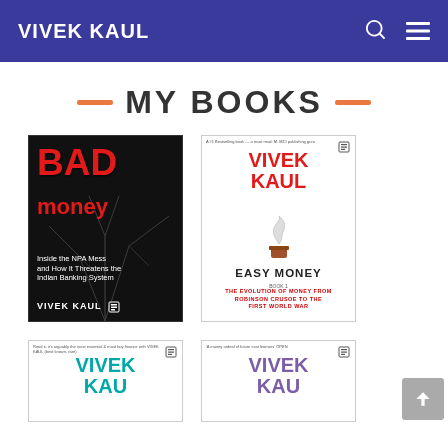VIVEK KAUL
MY BOOKS
[Figure (photo): Book cover: Bad Money – Inside the NPA Mess and How It Threatens the Indian Banking System by Vivek Kaul. Black cover with large red BAD and red money text.]
[Figure (photo): Book cover: Easy Money – The Evolution of Money from Robinson Crusoe to the First World War by Vivek Kaul. White cover with red author name, plant illustration.]
[Figure (photo): Book cover: Vivek Kaul – partial cover visible, teal/green author name.]
[Figure (photo): Book cover: Vivek Kaul – partial cover visible, purple author name.]